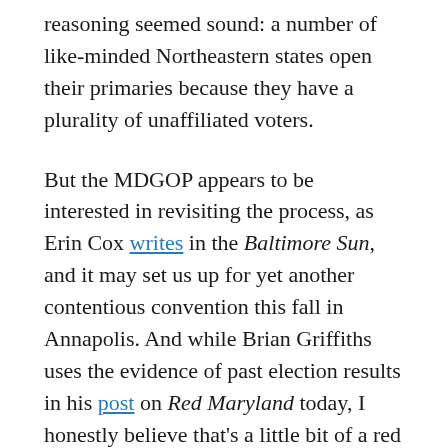reasoning seemed sound: a number of like-minded Northeastern states open their primaries because they have a plurality of unaffiliated voters.
But the MDGOP appears to be interested in revisiting the process, as Erin Cox writes in the Baltimore Sun, and it may set us up for yet another contentious convention this fall in Annapolis. And while Brian Griffiths uses the evidence of past election results in his post on Red Maryland today, I honestly believe that's a little bit of a red herring argument.
In Maryland today, the registration numbers lay out as follows (from the June report):